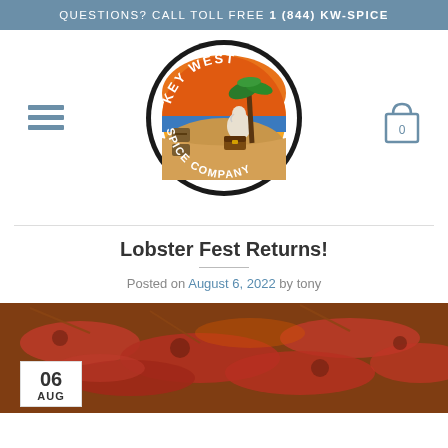QUESTIONS? CALL TOLL FREE 1 (844) KW-SPICE
[Figure (logo): Key West Spice Company circular logo with pelican, palm tree, sunset beach scene, black border with company name]
Lobster Fest Returns!
Posted on August 6, 2022 by tony
[Figure (photo): Photo of multiple lobsters piled together with a date badge showing 06 AUG in the bottom left corner]